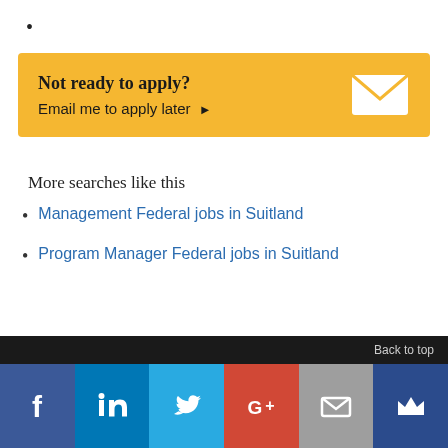[Figure (infographic): Yellow call-to-action box with bold text 'Not ready to apply?' and 'Email me to apply later ▶', with a white envelope icon on the right.]
More searches like this
Management Federal jobs in Suitland
Program Manager Federal jobs in Suitland
Back to top | Social media icons: Facebook, LinkedIn, Twitter, Google+, Email, Crown